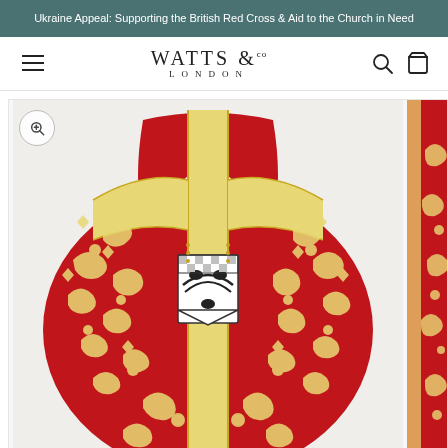Ukraine Appeal: Supporting the British Red Cross & Aid to the Church in Need
[Figure (logo): Watts & Co London logo with hamburger menu icon, search icon, and cart icon in navigation bar]
[Figure (photo): Red and gold ornate vestment/chasuble shown from the back, featuring intricate floral and scroll patterns in red fabric with gold orphrey (vertical band), and a heraldic shield badge in the center. A partial second image is visible on the right edge.]